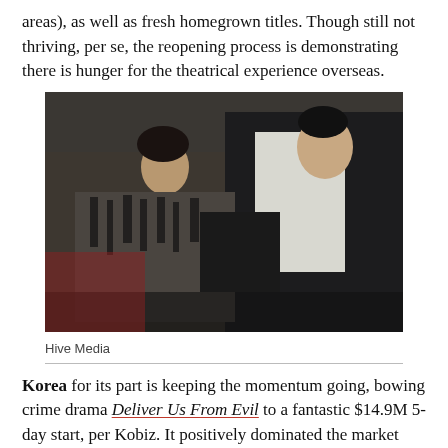areas), as well as fresh homegrown titles. Though still not thriving, per se, the reopening process is demonstrating there is hunger for the theatrical experience overseas.
[Figure (photo): Two men in a physical altercation — one in a dark suit, one in a zebra-print jacket — in a dimly lit interior setting.]
Hive Media
Korea for its part is keeping the momentum going, bowing crime drama Deliver Us From Evil to a fantastic $14.9M 5-day start, per Kobiz. It positively dominated the market which is robust in the wake of such new local titles as Peninsula and Steel Rain 2: Summit, reinforcing the strength of the Korean industry. Peninsula now has a $27M cume at home after four frames. The Train To